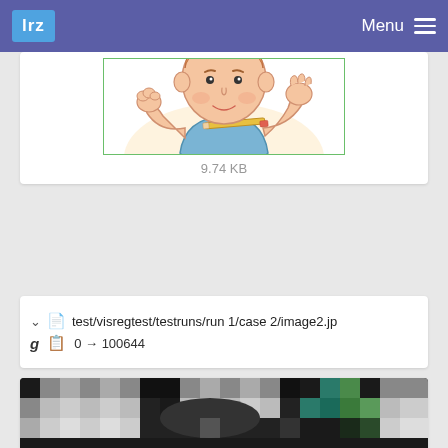lrz  Menu
[Figure (illustration): Cartoon illustration of a child sitting at a desk, holding a pencil in mouth, with an open book showing handwritten text, and a calculator nearby]
9.74 KB
test/visregtest/testruns/run 1/case 2/image2.jp
g  0 → 100644
[Figure (screenshot): Screenshot of a test image showing a color calibration chart with gray squares, black sections, and colored patches (teal, green, dark) arranged in a grid pattern]